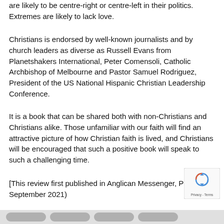are likely to be centre-right or centre-left in their politics. Extremes are likely to lack love.
Christians is endorsed by well-known journalists and by church leaders as diverse as Russell Evans from Planetshakers International, Peter Comensoli, Catholic Archbishop of Melbourne and Pastor Samuel Rodriguez, President of the US National Hispanic Christian Leadership Conference.
It is a book that can be shared both with non-Christians and Christians alike. Those unfamiliar with our faith will find an attractive picture of how Christian faith is lived, and Christians will be encouraged that such a positive book will speak to such a challenging time.
[This review first published in Anglican Messenger, Perth, September 2021)
[Figure (other): reCAPTCHA privacy badge with spinning arrows icon and 'Privacy - Terms' text]